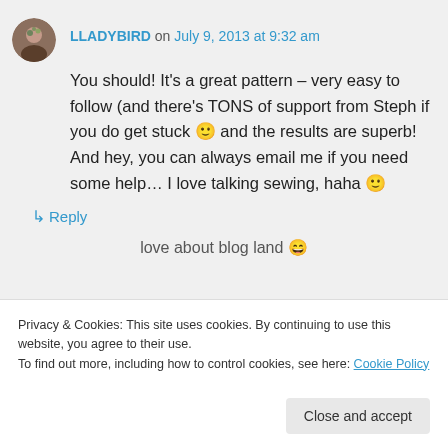LLADYBIRD on July 9, 2013 at 9:32 am
You should! It's a great pattern – very easy to follow (and there's TONS of support from Steph if you do get stuck 🙂 and the results are superb! And hey, you can always email me if you need some help… I love talking sewing, haha 🙂
↳ Reply
Privacy & Cookies: This site uses cookies. By continuing to use this website, you agree to their use. To find out more, including how to control cookies, see here: Cookie Policy
Close and accept
love about blog land 😄